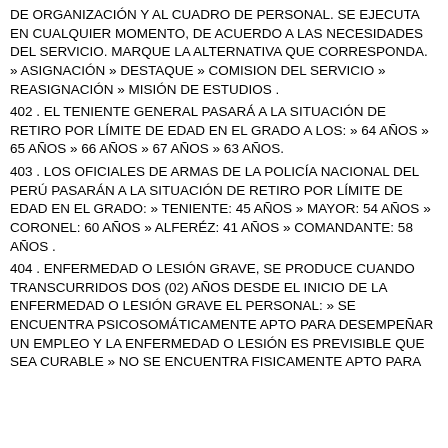DE ORGANIZACIÓN Y AL CUADRO DE PERSONAL. SE EJECUTA EN CUALQUIER MOMENTO, DE ACUERDO A LAS NECESIDADES DEL SERVICIO. MARQUE LA ALTERNATIVA QUE CORRESPONDA. » ASIGNACIÓN » DESTAQUE » COMISION DEL SERVICIO » REASIGNACIÓN » MISIÓN DE ESTUDIOS .
402 . EL TENIENTE GENERAL PASARÁ A LA SITUACIÓN DE RETIRO POR LÍMITE DE EDAD EN EL GRADO A LOS: » 64 AÑOS » 65 AÑOS » 66 AÑOS » 67 AÑOS » 63 AÑOS.
403 . LOS OFICIALES DE ARMAS DE LA POLICÍA NACIONAL DEL PERÚ PASARÁN A LA SITUACIÓN DE RETIRO POR LÍMITE DE EDAD EN EL GRADO: » TENIENTE: 45 AÑOS » MAYOR: 54 AÑOS » CORONEL: 60 AÑOS » ALFERÉZ: 41 AÑOS » COMANDANTE: 58 AÑOS .
404 . ENFERMEDAD O LESIÓN GRAVE, SE PRODUCE CUANDO TRANSCURRIDOS DOS (02) AÑOS DESDE EL INICIO DE LA ENFERMEDAD O LESIÓN GRAVE EL PERSONAL: » SE ENCUENTRA PSICOSOMÁTICAMENTE APTO PARA DESEMPEÑAR UN EMPLEO Y LA ENFERMEDAD O LESIÓN ES PREVISIBLE QUE SEA CURABLE » NO SE ENCUENTRA FISICAMENTE APTO PARA